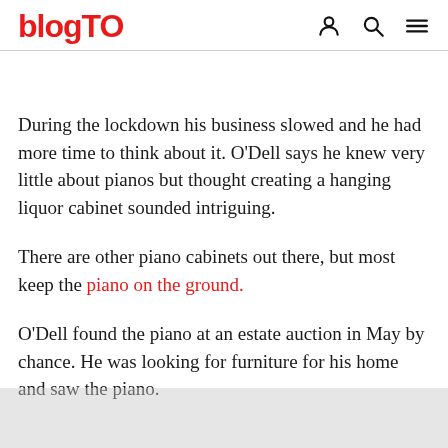blogTO
During the lockdown his business slowed and he had more time to think about it. O'Dell says he knew very little about pianos but thought creating a hanging liquor cabinet sounded intriguing.
There are other piano cabinets out there, but most keep the piano on the ground.
O'Dell found the piano at an estate auction in May by chance. He was looking for furniture for his home and saw the piano.